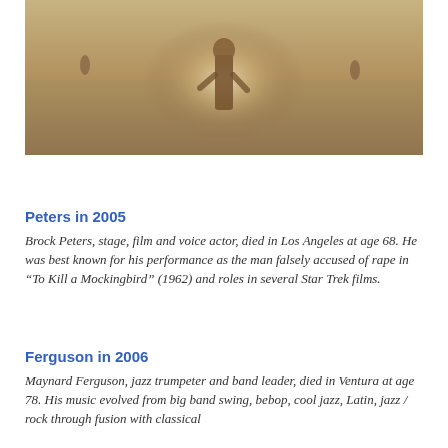[Figure (photo): Blurry outdoor photo showing a person standing on what appears to be a flat open ground, with warm brownish tones and a bright light effect in the center.]
Peters in 2005
Brock Peters, stage, film and voice actor, died in Los Angeles at age 68. He was best known for his performance as the man falsely accused of rape in “To Kill a Mockingbird” (1962) and roles in several Star Trek films.
Ferguson in 2006
Maynard Ferguson, jazz trumpeter and band leader, died in Ventura at age 78. His music evolved from big band swing, bebop, cool jazz, Latin, jazz / rock through fusion with classical